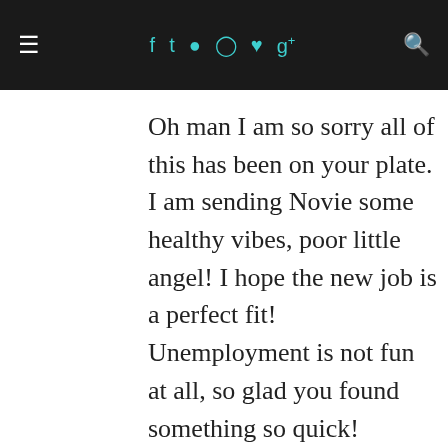≡  f  t  ☷  ⊕  ♥  g+  🔍
Oh man I am so sorry all of this has been on your plate. I am sending Novie some healthy vibes, poor little angel! I hope the new job is a perfect fit! Unemployment is not fun at all, so glad you found something so quick!
Reply
TAMMY
January 29, 2018 at 12:35 PM
Tough end/start of year. So